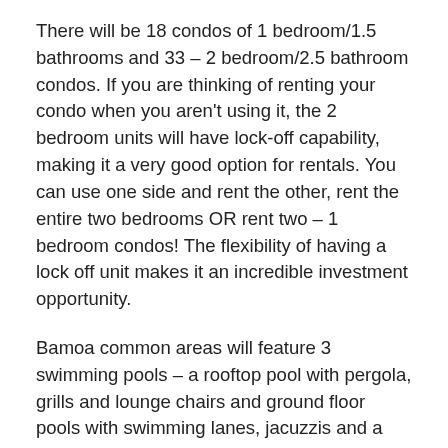There will be 18 condos of 1 bedroom/1.5 bathrooms and 33 – 2 bedroom/2.5 bathroom condos. If you are thinking of renting your condo when you aren't using it, the 2 bedroom units will have lock-off capability, making it a very good option for rentals. You can use one side and rent the other, rent the entire two bedrooms OR rent two – 1 bedroom condos! The flexibility of having a lock off unit makes it an incredible investment opportunity.
Bamoa common areas will feature 3 swimming pools – a rooftop pool with pergola, grills and lounge chairs and ground floor pools with swimming lanes, jacuzzis and a kid's area. Bamoa residents will offer have golf cart transportation within Playacar, get a ride to the beach, the golf course or one of the commercial areas to shop or grab a bit to eat. There will also be room service and a concierge staff at Bamoa, making your vacation or your